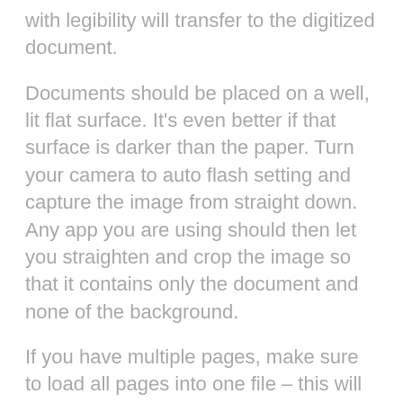with legibility will transfer to the digitized document.
Documents should be placed on a well, lit flat surface. It's even better if that surface is darker than the paper. Turn your camera to auto flash setting and capture the image from straight down. Any app you are using should then let you straighten and crop the image so that it contains only the document and none of the background.
If you have multiple pages, make sure to load all pages into one file – this will be better for sending as its easier when all documents that are associated with a load (confirmations, BOLs, invoices, etc.) are grouped together.
When you have captured your document, be sure to review the digitized version. Is it crisp, clear, and legible? If not, just delete the file and try again. This is way better